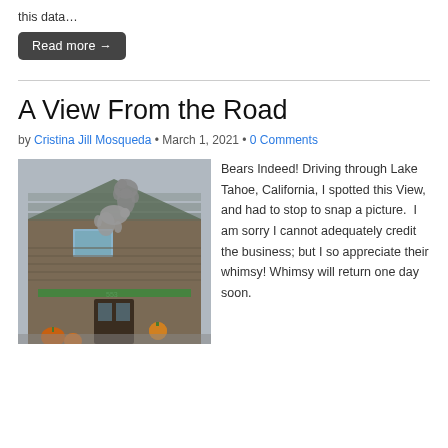this data…
Read more →
A View From the Road
by Cristina Jill Mosqueda • March 1, 2021 • 0 Comments
[Figure (photo): Photograph of a building exterior with two bear sculptures climbing the roofline, decorated with pumpkins and Halloween decorations. Address number 553 visible on the building.]
Bears Indeed! Driving through Lake Tahoe, California, I spotted this View, and had to stop to snap a picture. I am sorry I cannot adequately credit the business; but I so appreciate their whimsy! Whimsy will return one day soon.